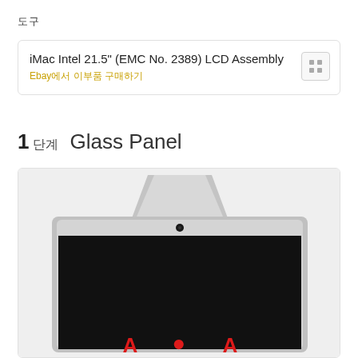도구
iMac Intel 21.5" (EMC No. 2389) LCD Assembly
Ebay에서 이부품 구매하기
1 단계   Glass Panel
[Figure (photo): Photo of an iMac from the back/top showing the silver enclosure, stand bracket, camera, and the screen area with red text partially visible at the bottom.]